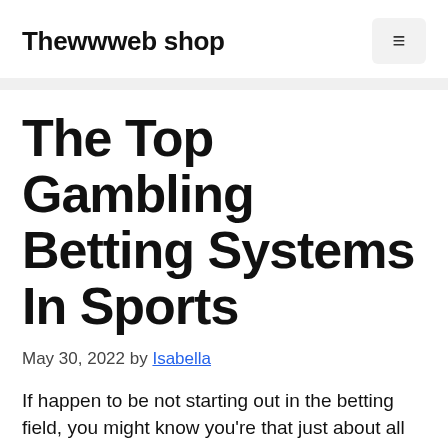Thewwweb shop
The Top Gambling Betting Systems In Sports
May 30, 2022 by Isabella
If happen to be not starting out in the betting field, you might know you're that just about all football betting tips help you win the